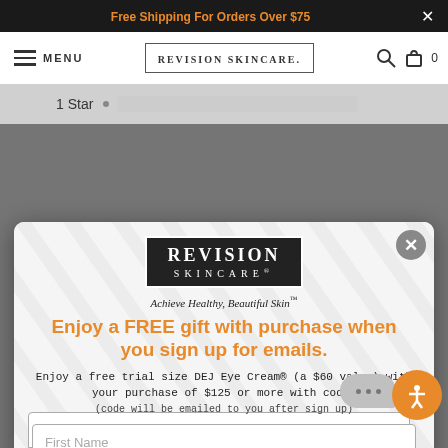Free Shipping For Orders Over $75
[Figure (screenshot): Navigation bar with hamburger menu icon, MENU text, Revision Skincare logo in bordered box, search icon, and cart icon with count 0]
1 Star
[Figure (screenshot): Modal popup with Revision Skincare logo on dark background, tagline 'Achieve Healthy, Beautiful Skin', promotional headline 'Enjoy a FREE gift with purchase when you sign up for emails.', body text about DEJ Eye Cream free trial offer, and First Name and Email input fields. Includes accessibility button and chat bubble overlay.]
Enjoy a FREE gift with purchase when you sign up for emails.
Enjoy a free trial size DEJ Eye Cream® (a $60 value) with your purchase of $125 or more with code.
(code will be emailed to you after sign up)